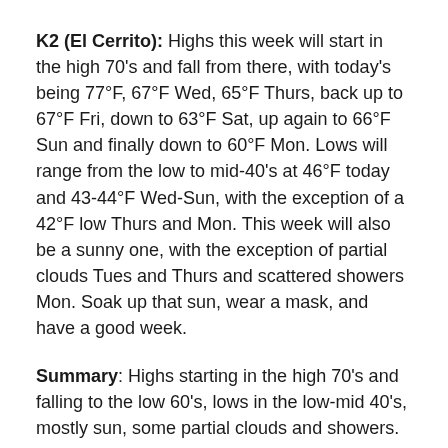K2 (El Cerrito): Highs this week will start in the high 70's and fall from there, with today's being 77°F, 67°F Wed, 65°F Thurs, back up to 67°F Fri, down to 63°F Sat, up again to 66°F Sun and finally down to 60°F Mon. Lows will range from the low to mid-40's at 46°F today and 43-44°F Wed-Sun, with the exception of a 42°F low Thurs and Mon. This week will also be a sunny one, with the exception of partial clouds Tues and Thurs and scattered showers Mon. Soak up that sun, wear a mask, and have a good week.
Summary: Highs starting in the high 70's and falling to the low 60's, lows in the low-mid 40's, mostly sun, some partial clouds and showers.
Tam (Richmond): Highs will range from the mid 70's